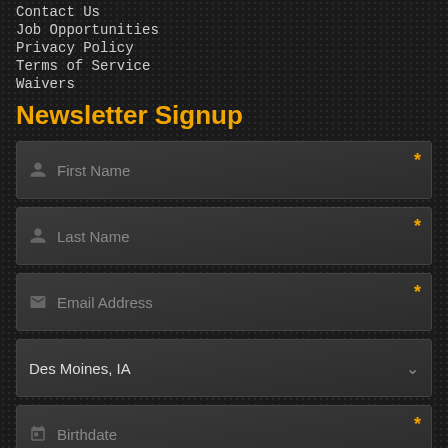Contact Us
Job Opportunities
Privacy Policy
Terms of Service
Waivers
Newsletter Signup
First Name (required)
Last Name (required)
Email Address (required)
Des Moines, IA (dropdown)
Birthdate (required)
I agree to receive Pole Position Raceway newsletters containing news, updates and promotions. You can unsubscribe at anytime. (required)
Submit